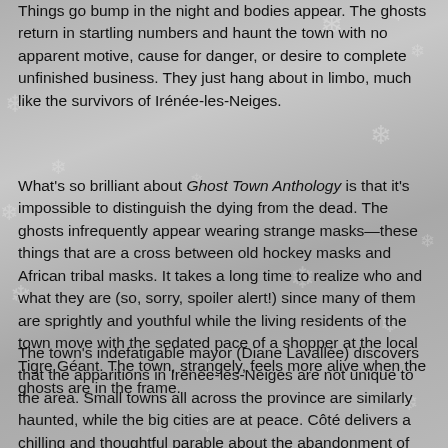Things go bump in the night and bodies appear. The ghosts return in startling numbers and haunt the town with no apparent motive, cause for danger, or desire to complete unfinished business. They just hang about in limbo, much like the survivors of Irénée-les-Neiges.
What's so brilliant about Ghost Town Anthology is that it's impossible to distinguish the dying from the dead. The ghosts infrequently appear wearing strange masks—these things that are a cross between old hockey masks and African tribal masks. It takes a long time to realize who and what they are (so, sorry, spoiler alert!) since many of them are sprightly and youthful while the living residents of the town move with the sedated pace of a shopper at the local Tigre Géant. The town, strangely, feels more alive when the ghosts are in the frame.
The town's indefatigable mayor (Diane Lavallée) discovers that the apparitions in Irénée-les-Neiges are not unique to the area. Small towns all across the province are similarly haunted, while the big cities are at peace. Côté delivers a chilling and thoughtful parable about the abandonment of the